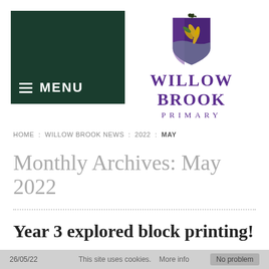[Figure (logo): Dark green menu button with hamburger icon and MENU text]
[Figure (logo): Willow Brook Primary school crest/shield with dragon, leaves in purple, gold and green colors, above school name WILLOW BROOK PRIMARY in purple serif font]
HOME : WILLOW BROOK NEWS : 2022 : MAY
Monthly Archives: May 2022
Year 3 explored block printing!
26/05/22  This site uses cookies.  More info  No problem